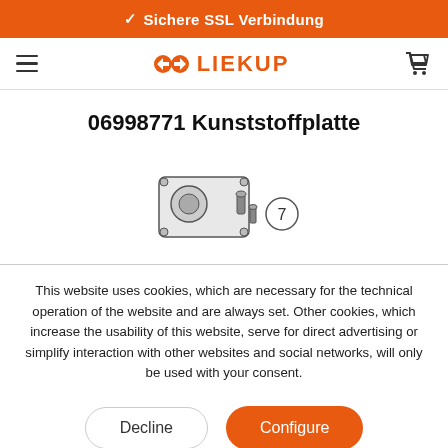✓ Sichere SSL Verbindung
[Figure (logo): Liekup logo with two arrow shapes and the text LIEKUP in orange]
06998771 Kunststoffplatte
[Figure (photo): Product image of a plastic plate (Kunststoffplatte) with mounting components and a circled number 7]
This website uses cookies, which are necessary for the technical operation of the website and are always set. Other cookies, which increase the usability of this website, serve for direct advertising or simplify interaction with other websites and social networks, will only be used with your consent.
Decline   Configure